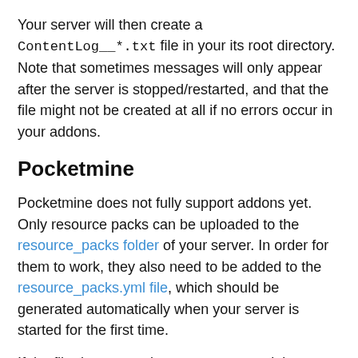Your server will then create a ContentLog__*.txt file in your its root directory. Note that sometimes messages will only appear after the server is stopped/restarted, and that the file might not be created at all if no errors occur in your addons.
Pocketmine
Pocketmine does not fully support addons yet. Only resource packs can be uploaded to the resource_packs folder of your server. In order for them to work, they also need to be added to the resource_packs.yml file, which should be generated automatically when your server is started for the first time.
If the file does not exist, you can create it in your resource_packs folder with the following content:
#This configuration file controls global re